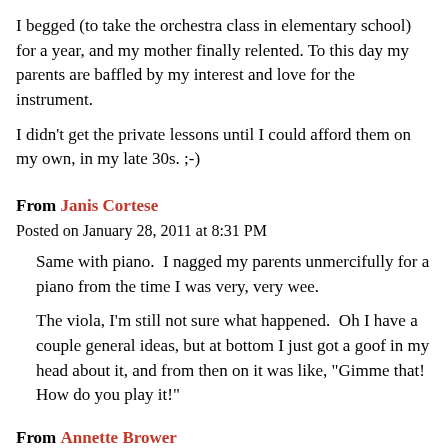I begged (to take the orchestra class in elementary school) for a year, and my mother finally relented. To this day my parents are baffled by my interest and love for the instrument.
I didn't get the private lessons until I could afford them on my own, in my late 30s. ;-)
From Janis Cortese
Posted on January 28, 2011 at 8:31 PM
Same with piano.  I nagged my parents unmercifully for a piano from the time I was very, very wee.
The viola, I'm still not sure what happened.  Oh I have a couple general ideas, but at bottom I just got a goof in my head about it, and from then on it was like, "Gimme that!  How do you play it!"
From Annette Brower
Posted on January 28, 2011 at 8:38 PM